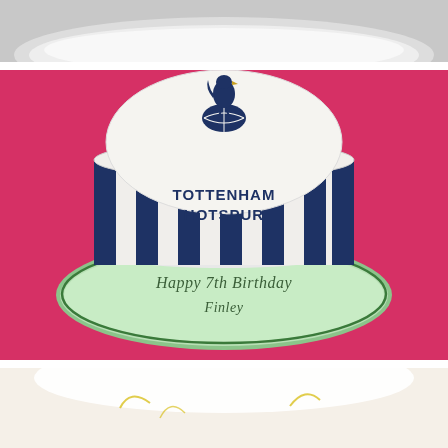[Figure (photo): Partial top view of a plain white/silver decorated cake on a plate, cropped at top of page.]
[Figure (photo): Tottenham Hotspur themed birthday cake on a light green cake board against a pink/magenta background. The cylindrical cake has navy blue and white vertical stripes with 'TOTTENHAM HOTSPUR' written in navy. The top of the cake is white with the Tottenham Hotspur cockerel crest. The green board reads 'Happy 7th Birthday Finley' in dark green script.]
[Figure (photo): Partial bottom view of another decorated cake, cropped at bottom of page, white with pale decorations visible.]